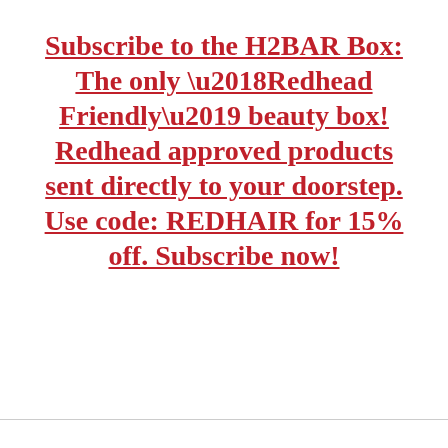Subscribe to the H2BAR Box: The only ‘Redhead Friendly’ beauty box! Redhead approved products sent directly to your doorstep. Use code: REDHAIR for 15% off. Subscribe now!